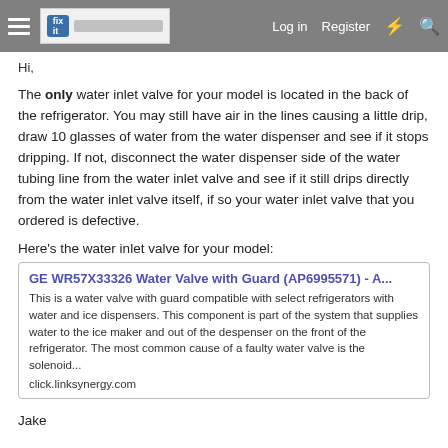Log in  Register
Hi,
The only water inlet valve for your model is located in the back of the refrigerator. You may still have air in the lines causing a little drip, draw 10 glasses of water from the water dispenser and see if it stops dripping. If not, disconnect the water dispenser side of the water tubing line from the water inlet valve and see if it still drips directly from the water inlet valve itself, if so your water inlet valve that you ordered is defective.
Here's the water inlet valve for your model:
GE WR57X33326 Water Valve with Guard (AP6995571) - A...
This is a water valve with guard compatible with select refrigerators with water and ice dispensers. This component is part of the system that supplies water to the ice maker and out of the despenser on the front of the refrigerator. The most common cause of a faulty water valve is the solenoid...
click.linksynergy.com
Jake